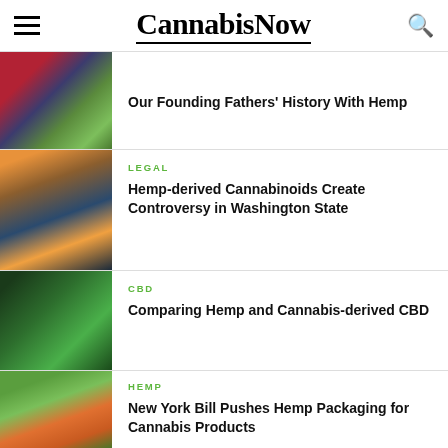CannabisNow
Our Founding Fathers' History With Hemp
LEGAL
Hemp-derived Cannabinoids Create Controversy in Washington State
CBD
Comparing Hemp and Cannabis-derived CBD
HEMP
New York Bill Pushes Hemp Packaging for Cannabis Products